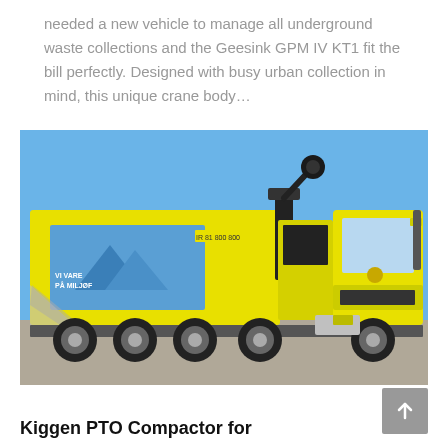needed a new vehicle to manage all underground waste collections and the Geesink GPM IV KT1 fit the bill perfectly. Designed with busy urban collection in mind, this unique crane body…
[Figure (photo): A yellow Geesink GPM IV KT1 crane body refuse collection truck with a crane arm, photographed outdoors on a paved area against a blue sky background. The truck body shows a scenic graphic and text reading 'IR 81 800 800'.]
Kiggen PTO Compactor for